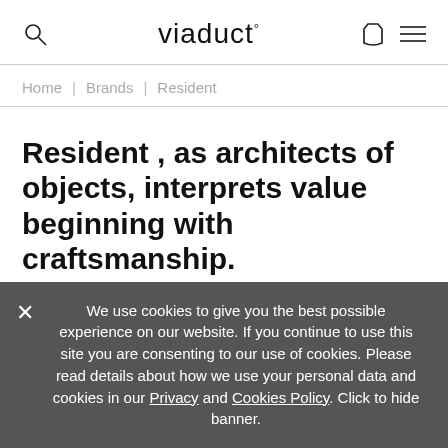viaduct°
Home | Brands | Resident
Resident , as architects of objects, interprets value beginning with craftsmanship.
The New Zealand based company focus on producing
We use cookies to give you the best possible experience on our website. If you continue to use this site you are consenting to our use of cookies. Please read details about how we use your personal data and cookies in our Privacy and Cookies Policy. Click to hide banner.